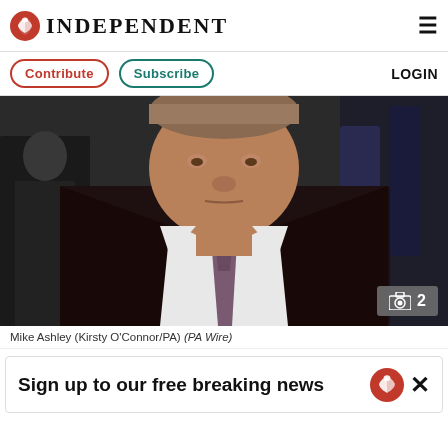INDEPENDENT
Contribute   Subscribe   LOGIN
[Figure (photo): Mike Ashley photographed in a dark suit with a purple tie, with another person in background. Camera badge showing '2' in bottom right corner.]
Mike Ashley (Kirsty O'Connor/PA) (PA Wire)
Sign up to our free breaking news